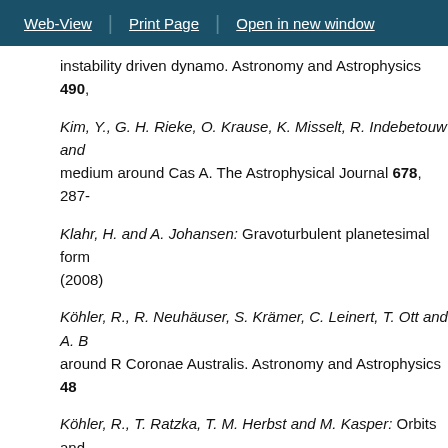Web-View | Print Page | Open in new window
instability driven dynamo. Astronomy and Astrophysics 490,
Kim, Y., G. H. Rieke, O. Krause, K. Misselt, R. Indebetouw and medium around Cas A. The Astrophysical Journal 678, 287-
Klahr, H. and A. Johansen: Gravoturbulent planetesimal form (2008)
Köhler, R., R. Neuhäuser, S. Krämer, C. Leinert, T. Ott and A. B around R Coronae Australis. Astronomy and Astrophysics 48
Köhler, R., T. Ratzka, T. M. Herbst and M. Kasper: Orbits and and Astrophysics 482, 929-938 (2008)
Kóspál, Á., P. Ábrahám, D. Apai, D. R. Ardila, C. A. Grady, T. He High-resolution polarimetry of Parsamian 21: revealing the s